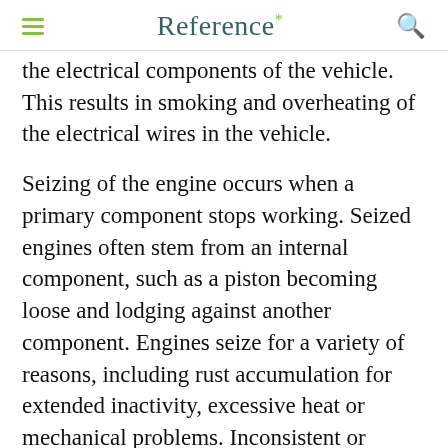Reference*
the electrical components of the vehicle. This results in smoking and overheating of the electrical wires in the vehicle.
Seizing of the engine occurs when a primary component stops working. Seized engines often stem from an internal component, such as a piston becoming loose and lodging against another component. Engines seize for a variety of reasons, including rust accumulation for extended inactivity, excessive heat or mechanical problems. Inconsistent or diminishing engine performance, unusual noises